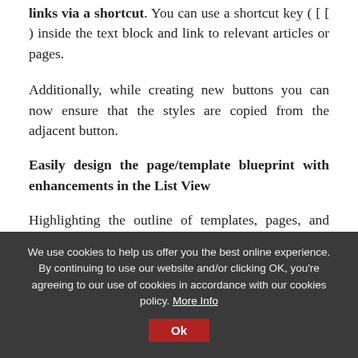links via a shortcut. You can use a shortcut key ( [ [ ) inside the text block and link to relevant articles or pages.
Additionally, while creating new buttons you can now ensure that the styles are copied from the adjacent button.
Easily design the page/template blueprint with enhancements in the List View
Highlighting the outline of templates, pages, and posts is another important aspect for most WordPress users. It gives them much more flexibility and control
We use cookies to help us offer you the best online experience. By continuing to use our website and/or clicking OK, you're agreeing to our use of cookies in accordance with our cookies policy. More Info